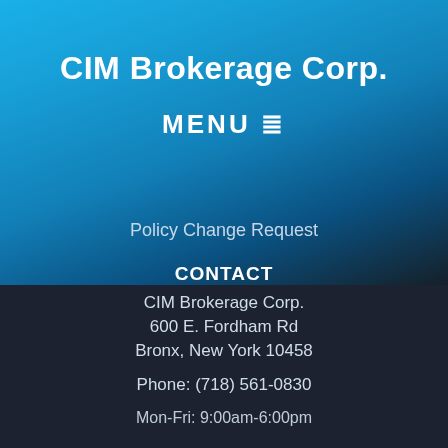CIM Brokerage Corp.
MENU ≡
Policy Change Request
CONTACT
CIM Brokerage Corp.
600 E. Fordham Rd
Bronx, New York 10458
Phone: (718) 561-0830
Mon-Fri: 9:00am-6:00pm